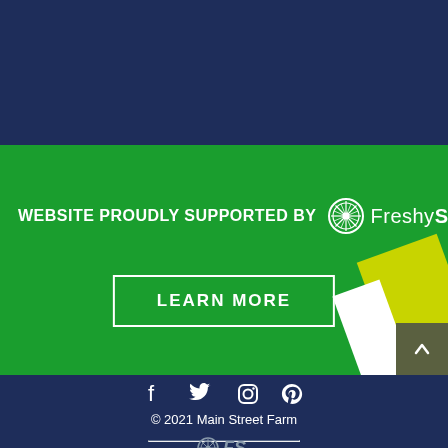[Figure (illustration): Dark navy blue background area at top of page]
[Figure (illustration): Green banner with text WEBSITE PROUDLY SUPPORTED BY FreshySites logo, a LEARN MORE button, decorative yellow and white geometric shapes, and a scroll-to-top arrow button]
[Figure (illustration): Social media icons: Facebook, Twitter, Instagram, Pinterest on dark navy background]
© 2021 Main Street Farm
[Figure (logo): FreshySites logo mark with FS text at bottom]